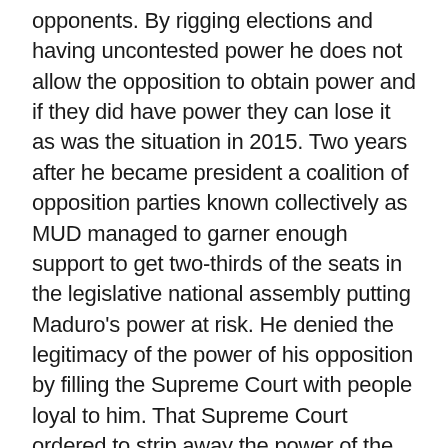opponents. By rigging elections and having uncontested power he does not allow the opposition to obtain power and if they did have power they can lose it as was the situation in 2015. Two years after he became president a coalition of opposition parties known collectively as MUD managed to garner enough support to get two-thirds of the seats in the legislative national assembly putting Maduro's power at risk. He denied the legitimacy of the power of his opposition by filling the Supreme Court with people loyal to him. That Supreme Court ordered to strip away the power of the opposition-filled national assembly giving himself absolute power (Aleem 2017).